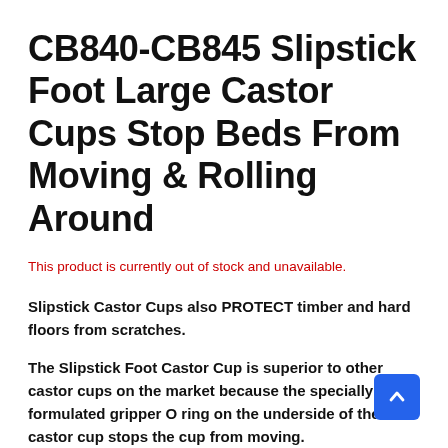CB840-CB845 Slipstick Foot Large Castor Cups Stop Beds From Moving & Rolling Around
This product is currently out of stock and unavailable.
Slipstick Castor Cups also PROTECT timber and hard floors from scratches.
The Slipstick Foot Castor Cup is superior to other castor cups on the market because the specially formulated gripper O ring on the underside of the castor cup stops the cup from moving.
The special indentation in the top of the castor cup stops